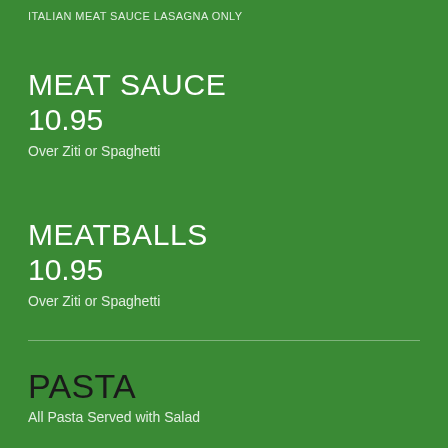ITALIAN MEAT SAUCE LASAGNA ONLY
MEAT SAUCE
10.95
Over Ziti or Spaghetti
MEATBALLS
10.95
Over Ziti or Spaghetti
PASTA
All Pasta Served with Salad